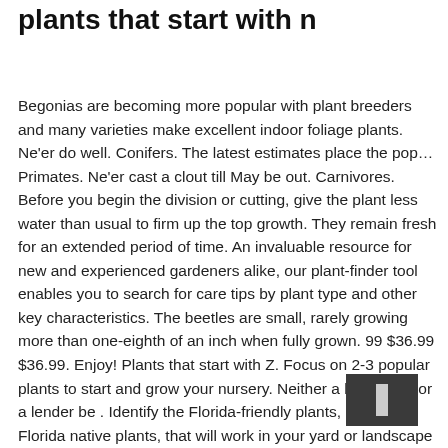plants that start with n
Begonias are becoming more popular with plant breeders and many varieties make excellent indoor foliage plants. Ne'er do well. Conifers. The latest estimates place the pop… Primates. Ne'er cast a clout till May be out. Carnivores. Before you begin the division or cutting, give the plant less water than usual to firm up the top growth. They remain fresh for an extended period of time. An invaluable resource for new and experienced gardeners alike, our plant-finder tool enables you to search for care tips by plant type and other key characteristics. The beetles are small, rarely growing more than one-eighth of an inch when fully grown. 99 $36.99 $36.99. Enjoy! Plants that start with Z. Focus on 2-3 popular plants to start and grow your nursery. Neither a borrower nor a lender be . Identify the Florida-friendly plants, including Florida native plants, that will work in your yard or landscape design. From any Browse page you can always return to the top of the taxonomic tree by clicking on The Plant List at the start of the breadcrumbs at the top of any page. They thrive best with full sun and in soil that is well drained. These plants need fertilizer, sufficient water, and acidic soil. Bergamot aka: Bee Balm Scarlet Beebalm Scarlet Monarda Oswego Tea Crimson Beebalm When you're ready to divide a houseplant, remove it carefully from the pot and cut the various sections apart with a sharp, sterile knife. Fungi. The List of Flowers website, for